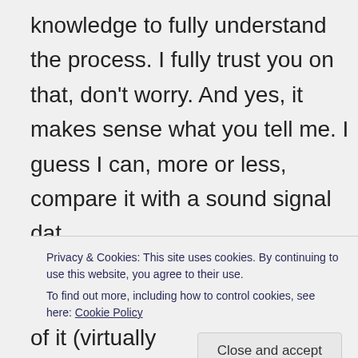knowledge to fully understand the process. I fully trust you on that, don't worry. And yes, it makes sense what you tell me. I guess I can, more or less, compare it with a sound signal dat
Privacy & Cookies: This site uses cookies. By continuing to use this website, you agree to their use.
To find out more, including how to control cookies, see here: Cookie Policy
of it (virtually